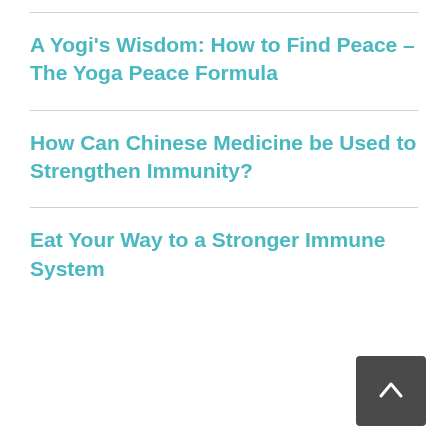A Yogi’s Wisdom: How to Find Peace – The Yoga Peace Formula
How Can Chinese Medicine be Used to Strengthen Immunity?
Eat Your Way to a Stronger Immune System